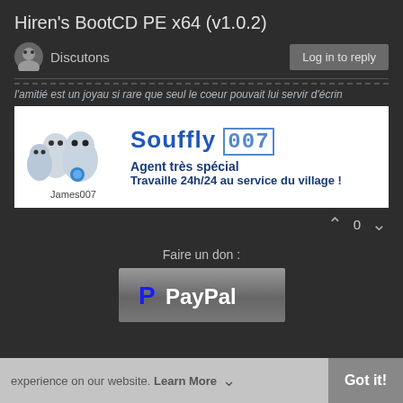Hiren's BootCD PE x64 (v1.0.2)
Discutons
Log in to reply
l'amitié est un joyau si rare que seul le coeur pouvait lui servir d'écrin
[Figure (illustration): Forum signature banner: cartoon ghost characters on left labeled James007, Souffly 007 logo text with 'Agent très spécial' and 'Travaille 24h/24 au service du village!' on white background]
0
Faire un don :
[Figure (logo): PayPal payment button with P logo and PayPal text on grey gradient background]
experience on our website. Learn More
Got it!